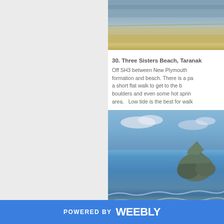[Figure (photo): Aerial or wide view of a beach with sandy shoreline and ocean water, showing sand and sea in muted blues and tans]
30. Three Sisters Beach, Taranak
Off SH3 between New Plymouth formation and beach. There is a pa a short flat walk to get to the b boulders and even some hot sprin area.   Low tide is the best for walk
[Figure (photo): Coastal landscape photo showing rocky headland/island in the ocean with blue sea and sky, waves breaking on a dark sand or rock beach in the foreground]
POWERED BY weebly